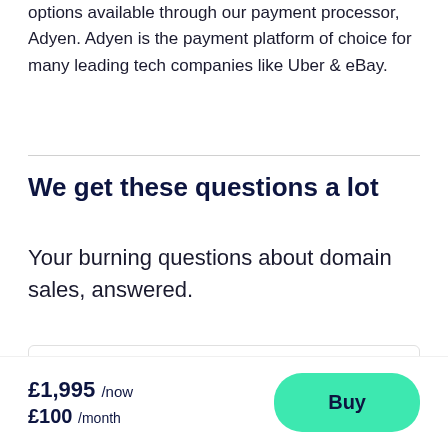options available through our payment processor, Adyen. Adyen is the payment platform of choice for many leading tech companies like Uber & eBay.
We get these questions a lot
Your burning questions about domain sales, answered.
How does your domain ownership...
£1,995 /now £100 /month
Buy